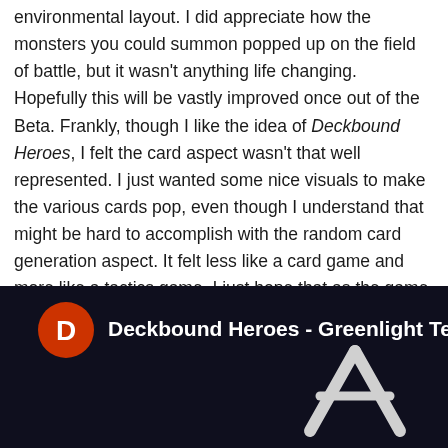environmental layout. I did appreciate how the monsters you could summon popped up on the field of battle, but it wasn't anything life changing. Hopefully this will be vastly improved once out of the Beta. Frankly, though I like the idea of Deckbound Heroes, I felt the card aspect wasn't that well represented. I just wanted some nice visuals to make the various cards pop, even though I understand that might be hard to accomplish with the random card generation aspect. It felt less like a card game and more like a tactics game. I just hope that as the game continues to grow it is able to streamline the concept and make things a bit more flashy. But either way, I'm glad I got the opportunity to try something new and a bit outside my wheelhouse at PAX West.
[Figure (screenshot): YouTube video thumbnail for 'Deckbound Heroes - Greenlight Teaser Trail' showing a dark space background with a metallic logo/emblem shape, a red circle with 'D' on the left, and white text title.]